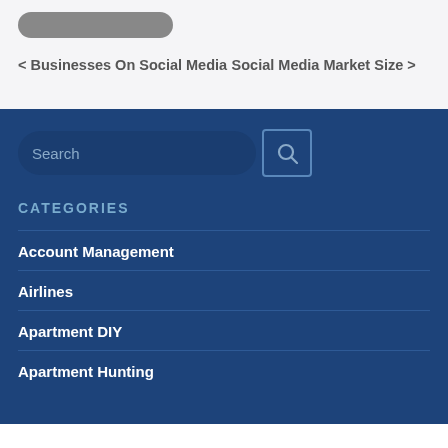< Businesses On Social Media
Social Media Market Size >
CATEGORIES
Account Management
Airlines
Apartment DIY
Apartment Hunting